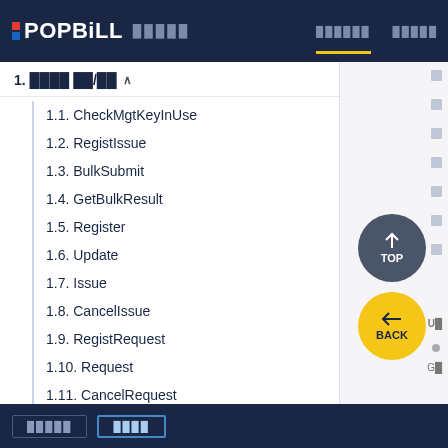POPBiLL — navigation header with TOP and BACK buttons
1. [Korean text] 발행/관리 ∧
1.1. CheckMgtKeyInUse
1.2. RegistIssue
1.3. BulkSubmit
1.4. GetBulkResult
1.5. Register
1.6. Update
1.7. Issue
1.8. CancelIssue
1.9. RegistRequest
1.10. Request
1.11. CancelRequest
1.12. Refuse
[Korean footer buttons]